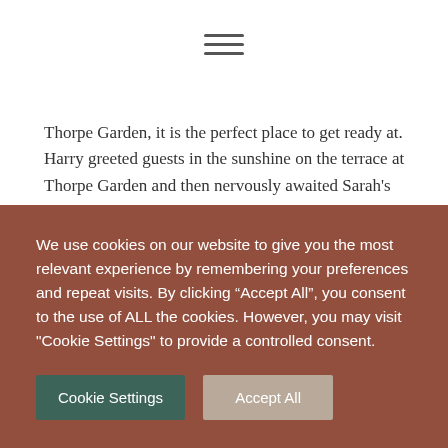[Figure (other): Hamburger menu icon (three horizontal lines)]
Thorpe Garden, it is the perfect place to get ready at. Harry greeted guests in the sunshine on the terrace at Thorpe Garden and then nervously awaited Sarah's entrance!
The ceremony room is a state of the art building, designed by award winning architect Seth Stein. With floor to ceiling windows, the light streams in and you are treated
We use cookies on our website to give you the most relevant experience by remembering your preferences and repeat visits. By clicking “Accept All”, you consent to the use of ALL the cookies. However, you may visit "Cookie Settings" to provide a controlled consent.
Cookie Settings
Accept All